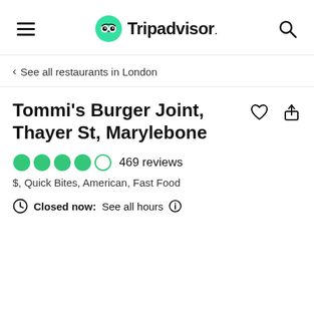Tripadvisor
< See all restaurants in London
Tommi's Burger Joint, Thayer St, Marylebone
469 reviews
$, Quick Bites, American, Fast Food
Closed now:  See all hours